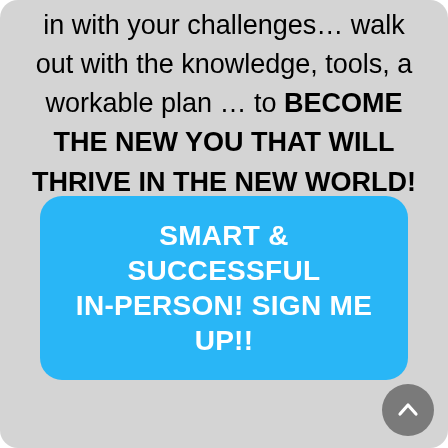in with your challenges… walk out with the knowledge, tools, a workable plan … to BECOME THE NEW YOU THAT WILL THRIVE IN THE NEW WORLD!
Reserve your place now.
SMART & SUCCESSFUL IN-PERSON! SIGN ME UP!!